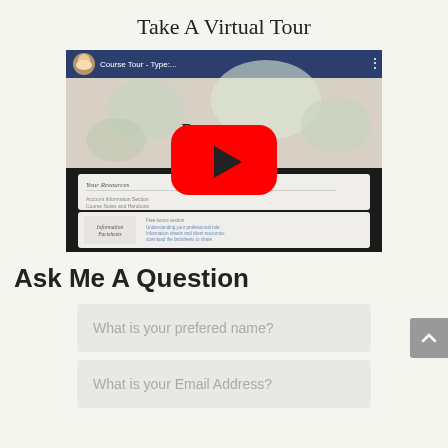Take A Virtual Tour
[Figure (screenshot): YouTube video thumbnail showing a course tour titled 'Course Tour - Type...' with a woman's avatar, floral background with 'Resources' text in cursive script, course resources page visible, and a red YouTube play button overlay]
Ask Me A Question
What is your prefered name?
What is your Email Address?